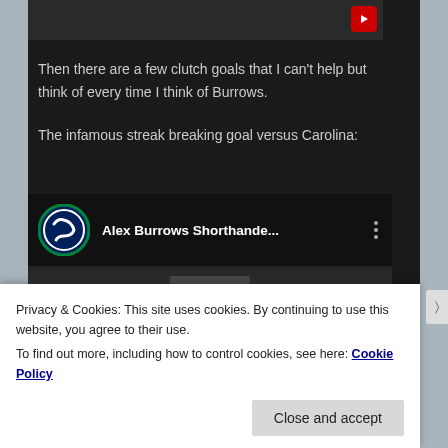[Figure (screenshot): Top portion of a video thumbnail on dark background]
Then there are a few clutch goals that I can't help but think of every time I think of Burrows.
The infamous streak breaking goal versus Carolina:
[Figure (screenshot): YouTube video thumbnail for 'Alex Burrows Shorthande...' with Canucks logo icon and three-dot menu]
Privacy & Cookies: This site uses cookies. By continuing to use this website, you agree to their use.
To find out more, including how to control cookies, see here: Cookie Policy
Close and accept